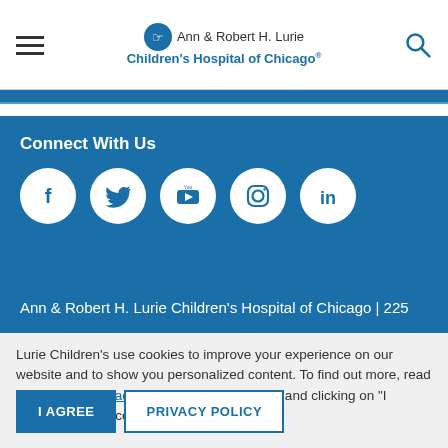[Figure (logo): Ann & Robert H. Lurie Children's Hospital of Chicago logo with hand icon, hamburger menu on left, search icon on right]
Connect With Us
[Figure (infographic): Social media icons: Facebook, Twitter, YouTube, Instagram, LinkedIn — white circles on blue background]
Ann & Robert H. Lurie Children's Hospital of Chicago | 225
Lurie Children's use cookies to improve your experience on our website and to show you personalized content. To find out more, read our Website Privacy Policy. By using the site and clicking on "I AGREE", you accept to the use of Cookies.